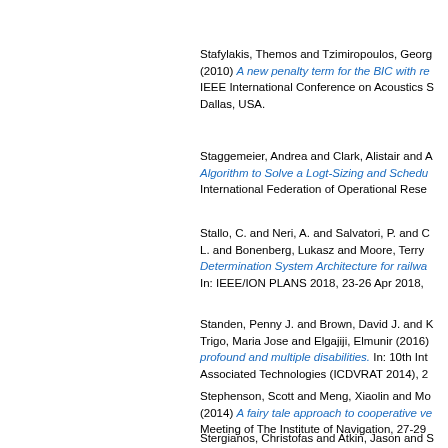Stafylakis, Themos and Tzimiropoulos, Georg (2010) A new penalty term for the BIC with re IEEE International Conference on Acoustics S Dallas, USA.
Staggemeier, Andrea and Clark, Alistair and A Algorithm to Solve a Logt-Sizing and Schedu International Federation of Operational Rese
Stallo, C. and Neri, A. and Salvatori, P. and C L. and Bonenberg, Lukasz and Moore, Terry Determination System Architecture for railwa In: IEEE/ION PLANS 2018, 23-26 Apr 2018,
Standen, Penny J. and Brown, David J. and K Trigo, Maria Jose and Elgajiji, Elmunir (2016) profound and multiple disabilities. In: 10th Int Associated Technologies (ICDVRAT 2014), 2
Stephenson, Scott and Meng, Xiaolin and Mo (2014) A fairy tale approach to cooperative ve Meeting of The Institute of Navigation, 27-29
Stergianos, Christofas and Atkin, Jason and S Gerada, C. and Morvan, Herve (2016) The in when routing departures on the ground at air Operational Research (ICAOR 2016), 28-30